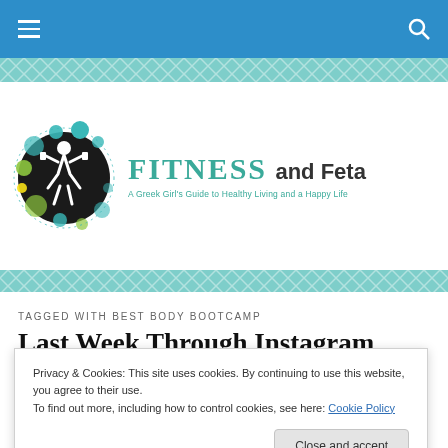Navigation bar with hamburger menu and search icon
[Figure (logo): Fitness and Feta blog logo: black circle with female figure lifting weights, surrounded by teal and green circles; text reads FITNESS and Feta - A Greek Girl's Guide to Healthy Living and a Happy Life]
TAGGED WITH BEST BODY BOOTCAMP
Last Week Through Instagram
Privacy & Cookies: This site uses cookies. By continuing to use this website, you agree to their use.
To find out more, including how to control cookies, see here: Cookie Policy
remember what I did what I ate all week. Last Week